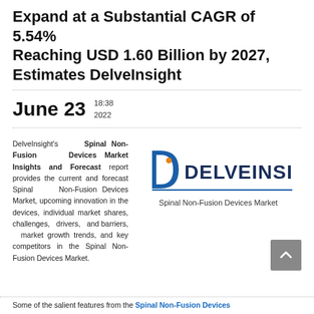Expand at a Substantial CAGR of 5.54% Reaching USD 1.60 Billion by 2027, Estimates DelveInsight
June 23  18:38 2022
DelveInsight's Spinal Non-Fusion Devices Market Insights and Forecast report provides the current and forecast Spinal Non-Fusion Devices Market, upcoming innovation in the devices, individual market shares, challenges, drivers, and barriers, market growth trends, and key competitors in the Spinal Non-Fusion Devices Market.
[Figure (logo): DelveInsight logo — letter D with an 'i' inside in blue and orange, followed by DELVEINSIGHT in dark navy text]
Spinal Non-Fusion Devices Market
Some of the salient features from the Spinal Non-Fusion Devices